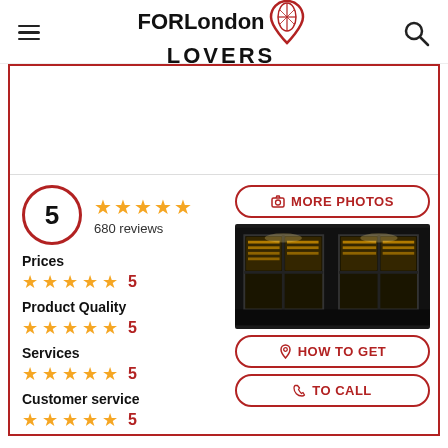FORLondon LOVERS
[Figure (photo): Shop front at night showing shelves of products visible through large glass windows with black frames, brightly lit interior]
5  ★★★★★  680 reviews
Prices ★★★★★ 5
Product Quality ★★★★★ 5
Services ★★★★★ 5
Customer service ★★★★★ 5
MORE PHOTOS
HOW TO GET
TO CALL